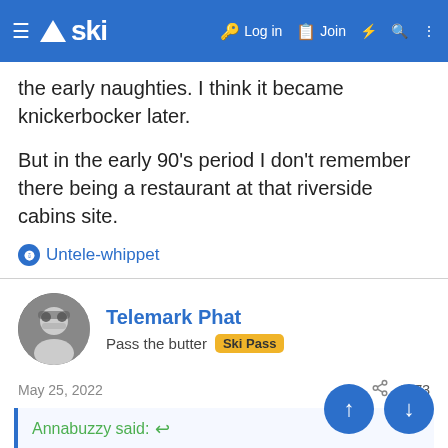ski — Log in  Join
the early naughties. I think it became knickerbocker later.
But in the early 90's period I don't remember there being a restaurant at that riverside cabins site.
Untele-whippet
Telemark Phat
Pass the butter  Ski Pass
May 25, 2022  #373
Annabuzzy said:
I got engaged at knickerbocker but it was called something else then. Former Level 41 chef by recollection. That was in the early naughties. I think it became knickerbocker late